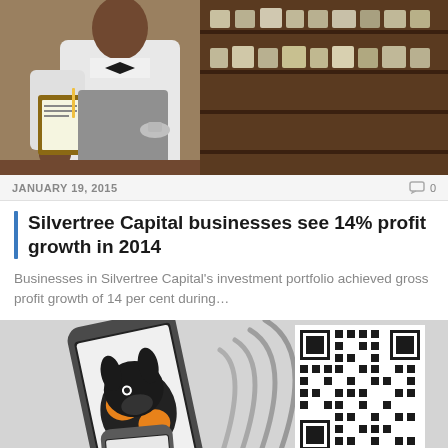[Figure (photo): Photo of a person in a white coat behind a counter, with shelves of products in the background]
JANUARY 19, 2015   0
Silvertree Capital businesses see 14% profit growth in 2014
Businesses in Silvertree Capital's investment portfolio achieved gross profit growth of 14 per cent during...
[Figure (illustration): Illustration of two smartphones with a dog logo (orange and black) sending wireless signals to a QR code and barcode]